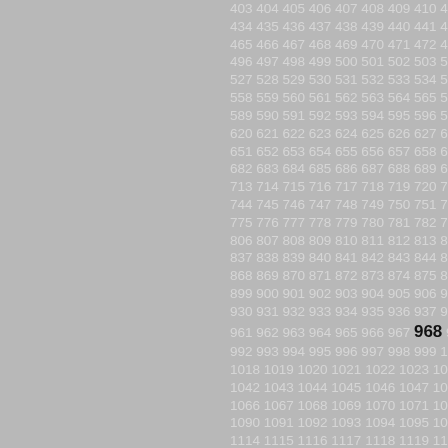[Figure (other): Gray background filled with sequential numbers from 403 to 1192 arranged in rows, with number 968 highlighted in black bold larger text. The left half of the page is a plain gray rectangle, and the right half contains the number sequence in light gray text on gray background.]